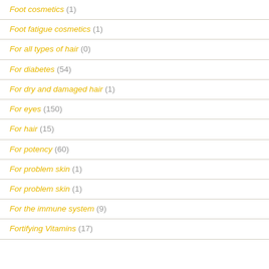Foot cosmetics (1)
Foot fatigue cosmetics (1)
For all types of hair (0)
For diabetes (54)
For dry and damaged hair (1)
For eyes (150)
For hair (15)
For potency (60)
For problem skin (1)
For problem skin (1)
For the immune system (9)
Fortifying Vitamins (17)